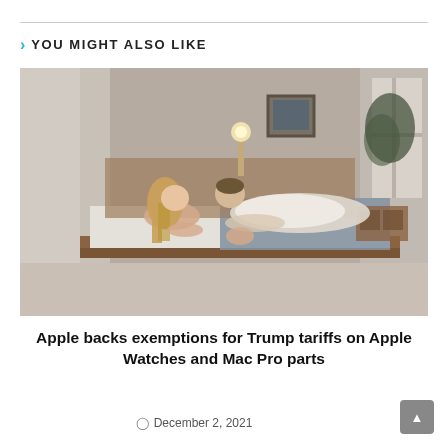YOU MIGHT ALSO LIKE
[Figure (photo): A couple leaning toward each other on a bed in a cozy, warmly lit bedroom. The woman has long blonde hair and the man is wearing a white t-shirt. There is a framed picture on the wall, a lamp, and a window in the background.]
Apple backs exemptions for Trump tariffs on Apple Watches and Mac Pro parts
December 2, 2021